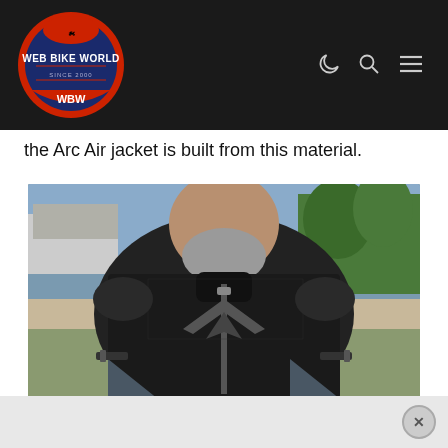Web Bike World — Since 2000 — WBW
the Arc Air jacket is built from this material.
[Figure (photo): A man wearing a black REV'IT! Arc Air motorcycle jacket, shown from chest up. The jacket features mesh construction with a large stylized logo on the chest, shoulder armor, and striped lower panel accents. Outdoor setting with a house and trees visible in the background.]
[Figure (photo): Partially visible advertisement or secondary image at the bottom of the page, showing a faded version of the jacket photo. Includes a close (X) button in the bottom right corner.]